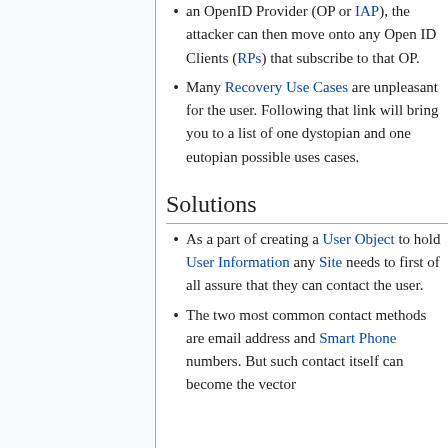an OpenID Provider (OP or IAP), the attacker can then move onto any Open ID Clients (RPs) that subscribe to that OP.
Many Recovery Use Cases are unpleasant for the user. Following that link will bring you to a list of one dystopian and one eutopian possible uses cases.
Solutions
As a part of creating a User Object to hold User Information any Site needs to first of all assure that they can contact the user.
The two most common contact methods are email address and Smart Phone numbers. But such contact itself can become the vector